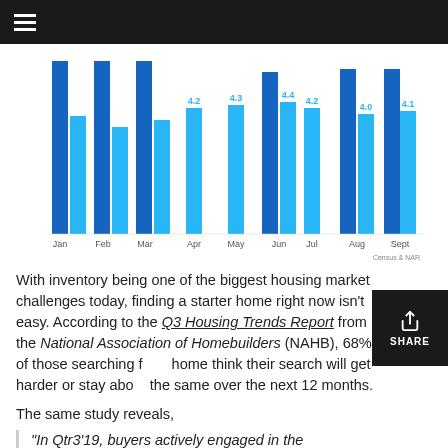[Figure (grouped-bar-chart): Monthly Housing Data]
With inventory being one of the biggest housing market challenges today, finding a starter home right now isn't easy. According to the Q3 Housing Trends Report from the National Association of Homebuilders (NAHB), 68% of those searching for a home think their search will get harder or stay about the same over the next 12 months.
The same study reveals,
“In Qtr3’19, buyers actively engaged in the